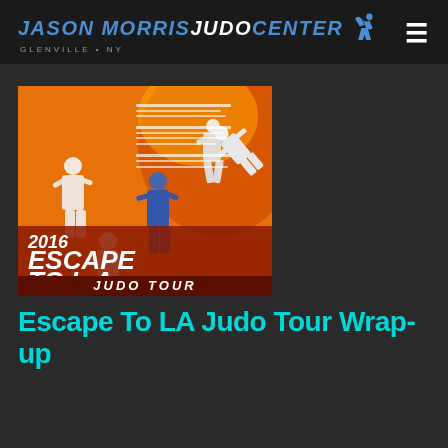JASON MORRIS JUDO CENTER — GLENVILLE • NY
[Figure (photo): Event poster for '2016 Escape To L.A. Judo Tour' featuring judo athletes throwing each other on an orange background, with schedule details listed on the left side]
Escape To LA Judo Tour Wrap-up